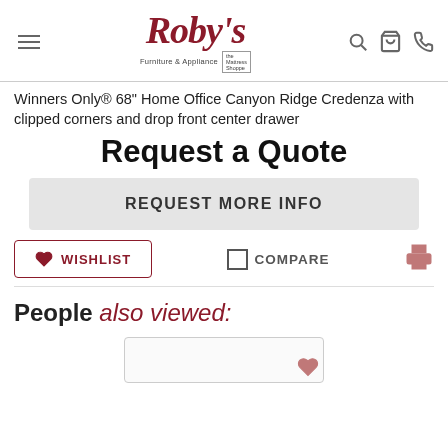Roby's Furniture & Appliance — navigation header with logo, search, cart, phone icons
Winners Only® 68" Home Office Canyon Ridge Credenza with clipped corners and drop front center drawer
Request a Quote
REQUEST MORE INFO
WISHLIST   COMPARE
People also viewed: